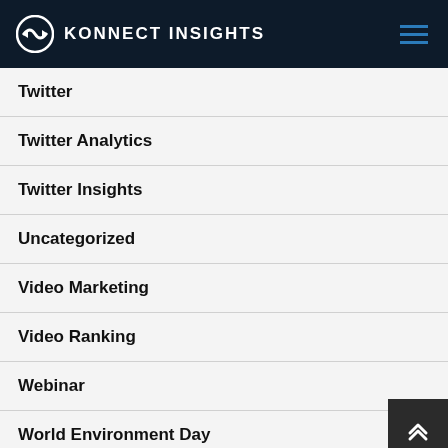KONNECT INSIGHTS
Twitter
Twitter Analytics
Twitter Insights
Uncategorized
Video Marketing
Video Ranking
Webinar
World Environment Day
Youtube